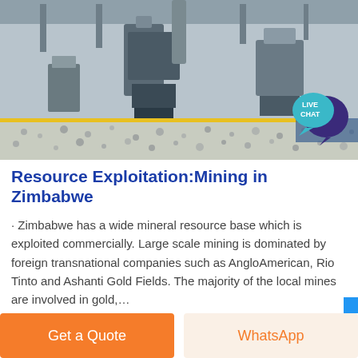[Figure (photo): Industrial mining facility interior showing heavy machinery, grinding or milling equipment on a floor covered with crushed stone/gravel, with yellow safety markings and overhead structures.]
[Figure (infographic): Live Chat speech bubble badge with teal/dark blue colors and white text reading 'LIVE CHAT' with a chat bubble icon.]
Resource Exploitation:Mining in Zimbabwe
· Zimbabwe has a wide mineral resource base which is exploited commercially. Large scale mining is dominated by foreign transnational companies such as AngloAmerican, Rio Tinto and Ashanti Gold Fields. The majority of the local mines are involved in gold,...
Get a Quote
WhatsApp